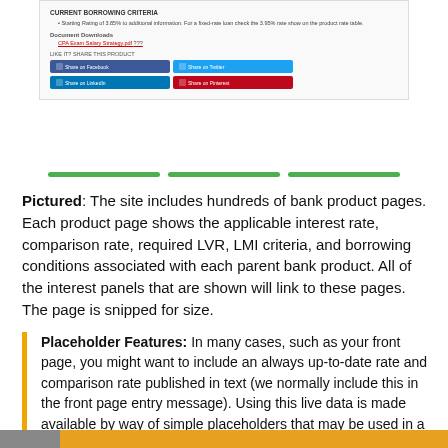[Figure (screenshot): Screenshot of a bank product page showing interest rate information, document downloads, and social sharing buttons (Facebook, Twitter, LinkedIn, Pinterest)]
Pictured: The site includes hundreds of bank product pages. Each product page shows the applicable interest rate, comparison rate, required LVR, LMI criteria, and borrowing conditions associated with each parent bank product. All of the interest panels that are shown will link to these pages. The page is snipped for size.
Placeholder Features: In many cases, such as your front page, you might want to include an always up-to-date rate and comparison rate published in text (we normally include this in the front page entry message). Using this live data is made available by way of simple placeholders that may be used in a number of locations.